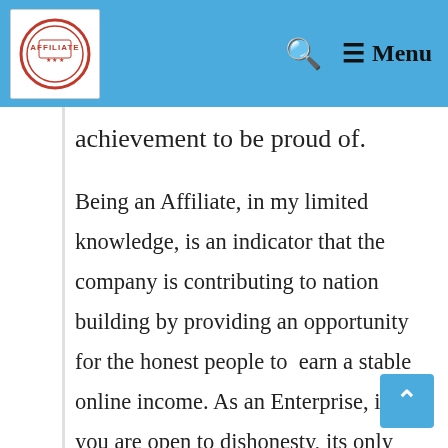[Figure (logo): Affiliate logo — circular red stamp design with 'AFFILIATE' text]
🔍  ☰ Menu
achievement to be proud of.
Being an Affiliate, in my limited knowledge, is an indicator that the company is contributing to nation building by providing an opportunity for the honest people to earn a stable online income. As an Enterprise, if you are open to dishonesty, its only natural that you are going to be putting measures in place to protect your self.
Thank you for allowing me to participate in